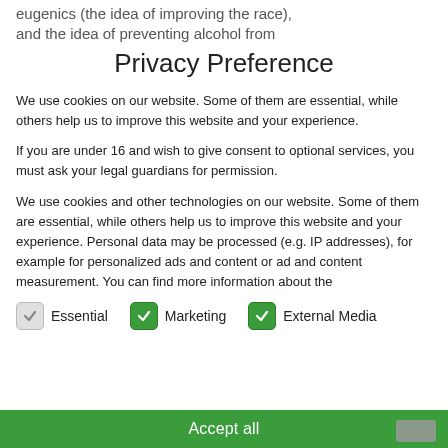eugenics (the idea of improving the race), and the idea of preventing alcohol from
Privacy Preference
We use cookies on our website. Some of them are essential, while others help us to improve this website and your experience.
If you are under 16 and wish to give consent to optional services, you must ask your legal guardians for permission.
We use cookies and other technologies on our website. Some of them are essential, while others help us to improve this website and your experience. Personal data may be processed (e.g. IP addresses), for example for personalized ads and content or ad and content measurement. You can find more information about the
Essential
Marketing
External Media
Accept all